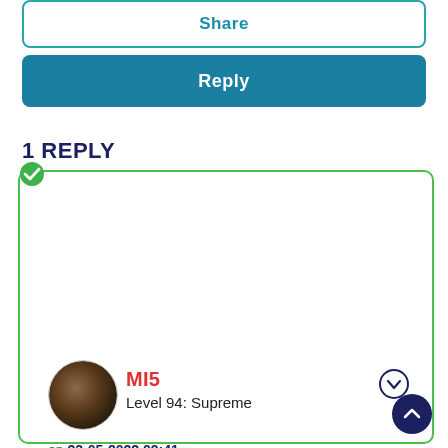Share
Reply
1 REPLY
MI5
Level 94: Supreme
on 23-05-2022 09:41
@Lj2
Credit is exchanged for allowances so unless you top up with more money it will be zero.
https://www.o2.co.uk/help/pay-as-you-go/big-